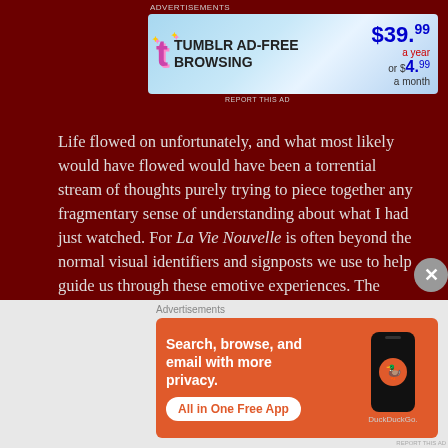[Figure (screenshot): Tumblr Ad-Free Browsing advertisement banner: $39.99 a year or $4.99 a month]
REPORT THIS AD
Life flowed on unfortunately, and what most likely would have flowed would have been a torrential stream of thoughts purely trying to piece together any fragmentary sense of understanding about what I had just watched. For La Vie Nouvelle is often beyond the normal visual identifiers and signposts we use to help guide us through these emotive experiences. The dialogue is extremely minimal, the location is undisclosed, the characters are drawn in ways to allow precious little access to them or their internal states. Exposition, one of cinemas oldest allies in allowing audiences to understand what is
Advertisements
[Figure (screenshot): DuckDuckGo advertisement: Search, browse, and email with more privacy. All in One Free App. Shows phone with DuckDuckGo logo.]